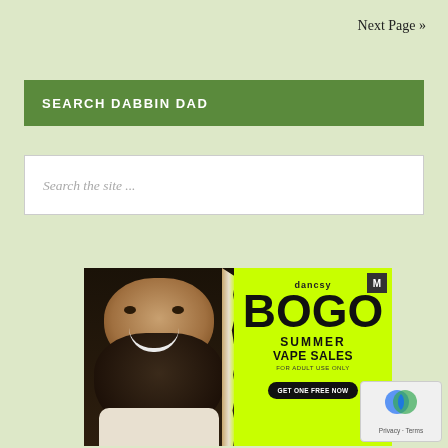Next Page »
SEARCH DABBIN DAD
Search the site ...
[Figure (photo): Advertisement banner for Dancsy BOGO Summer Vape Sales. Left side shows a bearded smiling man with tattoos. Right side on neon green background shows text: dancsy BOGO SUMMER VAPE SALES FOR ADULT USE ONLY GET ONE FREE NOW with an M badge in the corner.]